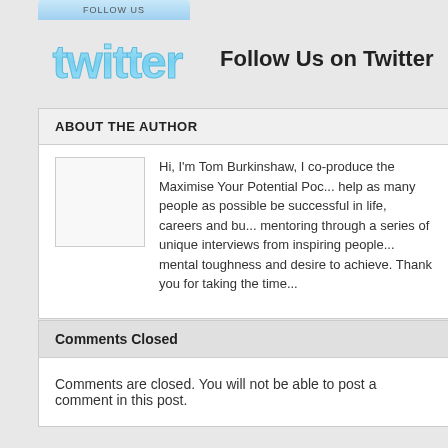[Figure (logo): Twitter logo with 'Follow Us' button tab above it]
Follow Us on Twitter
ABOUT THE AUTHOR
[Figure (photo): Author photo placeholder (empty box)]
Hi, I'm Tom Burkinshaw, I co-produce the Maximise Your Potential Podcast to help as many people as possible be successful in life, careers and business through mentoring through a series of unique interviews from inspiring people who share mental toughness and desire to achieve. Thank you for taking the time
Comments Closed
Comments are closed. You will not be able to post a comment in this post.